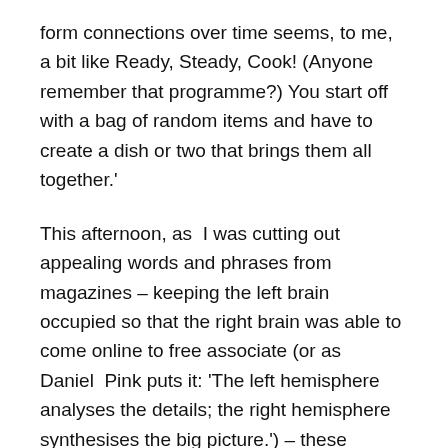form connections over time seems, to me, a bit like Ready, Steady, Cook! (Anyone remember that programme?) You start off with a bag of random items and have to create a dish or two that brings them all together.'
This afternoon, as I was cutting out appealing words and phrases from magazines – keeping the left brain occupied so that the right brain was able to come online to free associate (or as Daniel Pink puts it: 'The left hemisphere analyses the details; the right hemisphere synthesises the big picture.') – these rememberings were sifted to the front of my awareness;